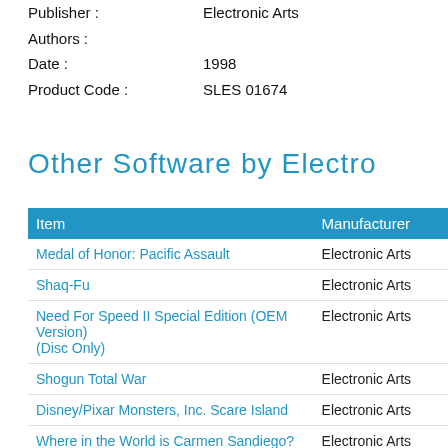Publisher : Electronic Arts
Authors :
Date : 1998
Product Code : SLES 01674
Other Software by Electro
| Item | Manufacturer |
| --- | --- |
| Medal of Honor: Pacific Assault | Electronic Arts |
| Shaq-Fu | Electronic Arts |
| Need For Speed II Special Edition (OEM Version) (Disc Only) | Electronic Arts |
| Shogun Total War | Electronic Arts |
| Disney/Pixar Monsters, Inc. Scare Island | Electronic Arts |
| Where in the World is Carmen Sandiego? | Electronic Arts |
| Tiger Woods PGA Tour 2004 | Electronic Arts |
| The Deadly Tale III Thief of Fate | Electronic Arts |